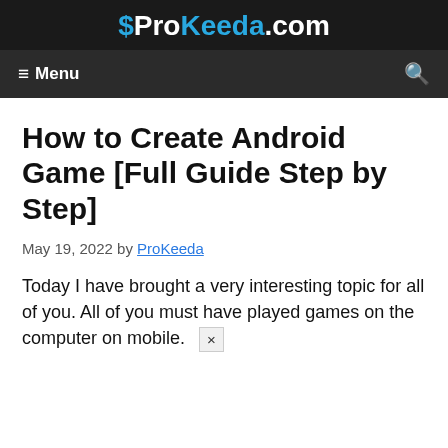ProKeeda.com
≡ Menu  🔍
How to Create Android Game [Full Guide Step by Step]
May 19, 2022 by ProKeeda
Today I have brought a very interesting topic for all of you. All of you must have played games on the computer on mobile.  ×